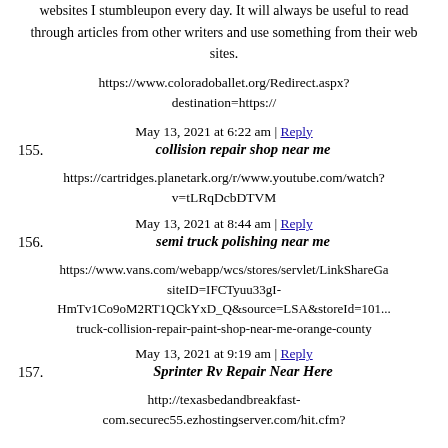websites I stumbleupon every day. It will always be useful to read through articles from other writers and use something from their web sites.
https://www.coloradoballet.org/Redirect.aspx?destination=https://
May 13, 2021 at 6:22 am | Reply
155. collision repair shop near me
https://cartridges.planetark.org/r/www.youtube.com/watch?v=tLRqDcbDTVM
May 13, 2021 at 8:44 am | Reply
156. semi truck polishing near me
https://www.vans.com/webapp/wcs/stores/servlet/LinkShareGa siteID=IFCTyuu33gI-HmTv1Co9oM2RT1QCkYxD_Q&source=LSA&storeId=101... truck-collision-repair-paint-shop-near-me-orange-county
May 13, 2021 at 9:19 am | Reply
157. Sprinter Rv Repair Near Here
http://texasbedandbreakfast-com.securec55.ezhostingserver.com/hit.cfm?